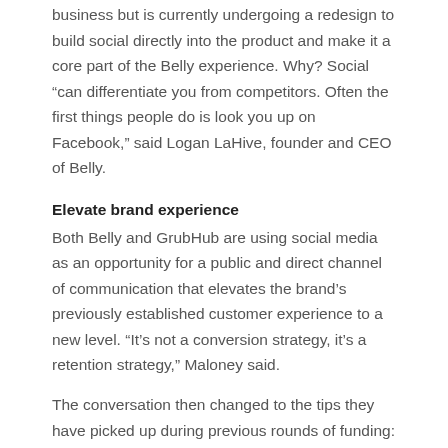business but is currently undergoing a redesign to build social directly into the product and make it a core part of the Belly experience. Why? Social “can differentiate you from competitors. Often the first things people do is look you up on Facebook,” said Logan LaHive, founder and CEO of Belly.
Elevate brand experience
Both Belly and GrubHub are using social media as an opportunity for a public and direct channel of communication that elevates the brand’s previously established customer experience to a new level. “It’s not a conversion strategy, it’s a retention strategy,” Maloney said.
The conversation then changed to the tips they have picked up during previous rounds of funding: